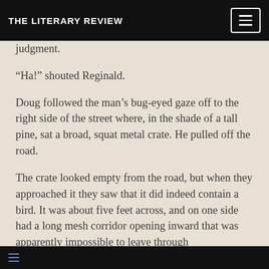THE LITERARY REVIEW
judgment.
“Ha!” shouted Reginald.
Doug followed the man’s bug-eyed gaze off to the right side of the street where, in the shade of a tall pine, sat a broad, squat metal crate. He pulled off the road.
The crate looked empty from the road, but when they approached it they saw that it did indeed contain a bird. It was about five feet across, and on one side had a long mesh corridor opening inward that was apparently impossible to leave through